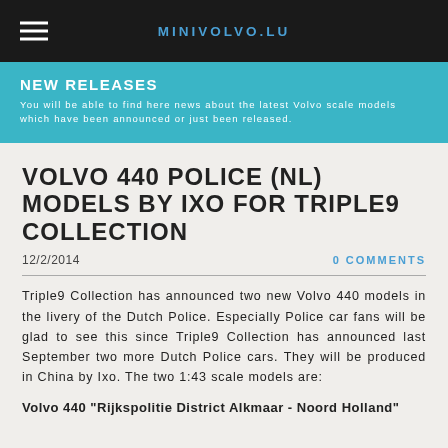MINIVOLVO.LU
NEW RELEASES
You will be able to find here news about the latest Volvo scale models which have been announced or just been released.
VOLVO 440 POLICE (NL) MODELS BY IXO FOR TRIPLE9 COLLECTION
12/2/2014
0 COMMENTS
Triple9 Collection has announced two new Volvo 440 models in the livery of the Dutch Police. Especially Police car fans will be glad to see this since Triple9 Collection has announced last September two more Dutch Police cars. They will be produced in China by Ixo. The two 1:43 scale models are:
Volvo 440 "Rijkspolitie District Alkmaar - Noord Holland"